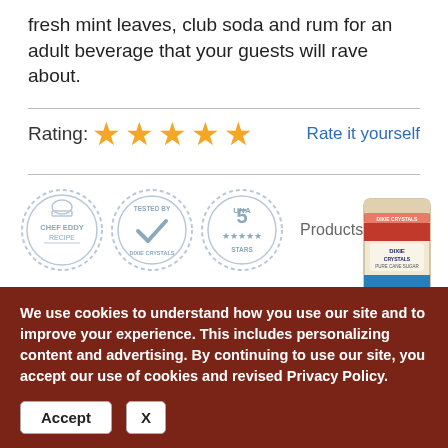fresh mint leaves, club soda and rum for an adult beverage that your guests will rave about.
Rating: ★★★★★   Rate it yourself
[Figure (illustration): Three circular badge stamps: Chef Eddy Recipe, Tested by Dixie Crystals (with checkmark), and 5 Stars rating. Next to them text 'Products Used' and a photo of a Dixie Crystals pure cane sugar bag.]
We use cookies to understand how you use our site and to improve your experience. This includes personalizing content and advertising. By continuing to use our site, you accept our use of cookies and revised Privacy Policy.
Accept   X